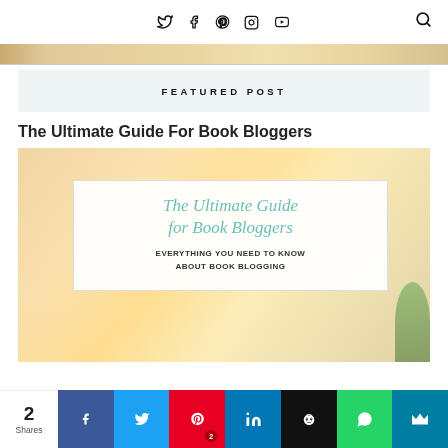Twitter Facebook Pinterest Instagram YouTube [Search]
[Figure (photo): Partial view of a book/desk scene image strip at top of page]
FEATURED POST
The Ultimate Guide For Book Bloggers
[Figure (photo): Featured blog post image: warm-toned photo of person at laptop with overlaid card reading 'The Ultimate Guide for Book Bloggers' in teal script and 'EVERYTHING YOU NEED TO KNOW ABOUT BOOK BLOGGING' in bold uppercase]
2 Shares — social share bar with Facebook, Twitter, Pinterest (2), LinkedIn, Buffer, WhatsApp, SumoMe buttons